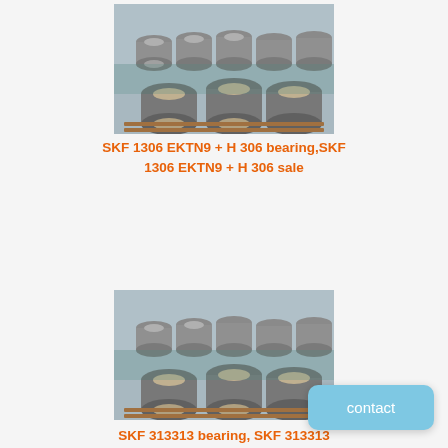[Figure (photo): Photo of multiple SKF ball bearings stacked in a warehouse/factory setting, metallic silver bearings piled on wooden pallets]
SKF 1306 EKTN9 + H 306 bearing,SKF 1306 EKTN9 + H 306 sale
[Figure (photo): Photo of multiple SKF ball bearings stacked in a warehouse/factory setting, metallic silver bearings piled on wooden pallets]
SKF 313313 bearing, SKF 313313